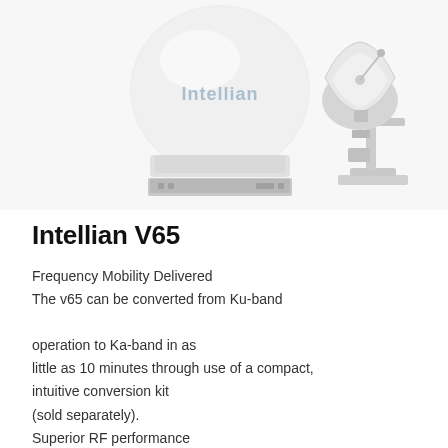[Figure (photo): Intellian satellite communication equipment: a white dome-shaped VSAT antenna unit with 'Intellian' branding, a rack-mounted modem/controller unit, and an open dish antenna on a pedestal mount, all displayed on white background.]
Intellian V65
Frequency Mobility Delivered
The v65 can be converted from Ku-band operation to Ka-band in as little as 10 minutes through use of a compact, intuitive conversion kit (sold separately).
Superior RF performance